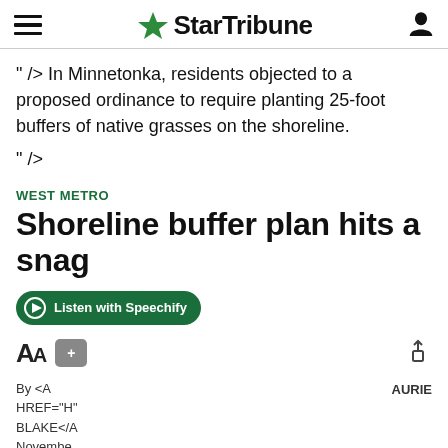StarTribune
" /> In Minnetonka, residents objected to a proposed ordinance to require planting 25-foot buffers of native grasses on the shoreline.
" />
WEST METRO
Shoreline buffer plan hits a snag
Listen with Speechify
AA  +
By <A HREF="H" BLAKE</A November
AURIE